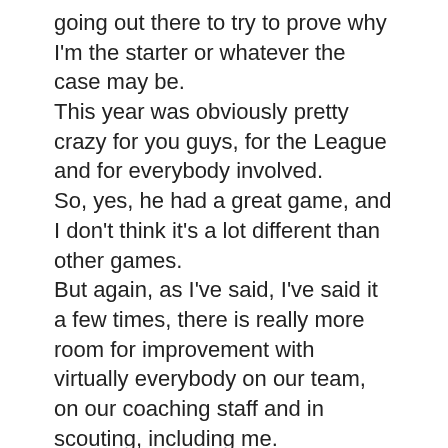going out there to try to prove why I'm the starter or whatever the case may be.
This year was obviously pretty crazy for you guys, for the League and for everybody involved.
So, yes, he had a great game, and I don't think it's a lot different than other games.
But again, as I've said, I've said it a few times, there is really more room for improvement with virtually everybody on our team, on our coaching staff and in scouting, including me.
But from my standpoint, absolutely; the answer would be yes to that.
It starts from the top down, Williams told Chris and Steve.
They're supposed to be sending me some buffalo wings, some authentic buffalo wings, apparently.
Everything is new.
And we love these guys.